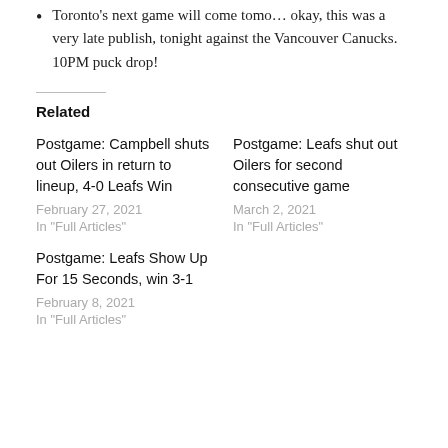Toronto's next game will come tomo… okay, this was a very late publish, tonight against the Vancouver Canucks. 10PM puck drop!
Related
Postgame: Campbell shuts out Oilers in return to lineup, 4-0 Leafs Win
February 27, 2021
In "Full Articles"
Postgame: Leafs shut out Oilers for second consecutive game
March 2, 2021
In "Full Articles"
Postgame: Leafs Show Up For 15 Seconds, win 3-1
February 8, 2021
In "Full Articles"